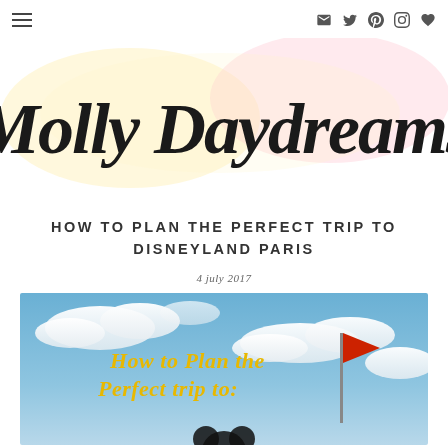Navigation bar with hamburger menu and social icons (email, Twitter, Pinterest, Instagram, heart/favorites)
[Figure (logo): Molly Daydreams blog logo in handwritten script font on a watercolor pastel background]
HOW TO PLAN THE PERFECT TRIP TO DISNEYLAND PARIS
4 july 2017
[Figure (photo): Hero image showing a blue sky with clouds and a red Disney flag, with text overlay reading 'How to Plan the Perfect trip to:' in yellow/gold script font]